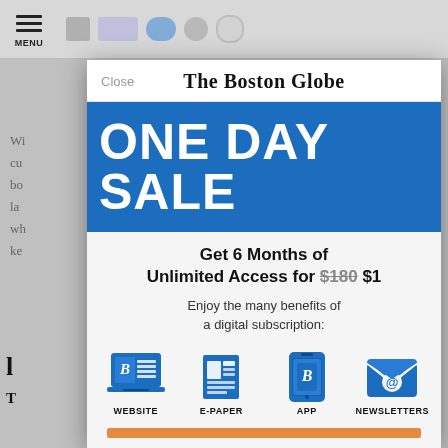[Figure (screenshot): Screenshot of a Boston Globe website with a modal subscription popup overlay. Background shows a partially visible article. The modal shows 'The Boston Globe' masthead, a blue 'ONE DAY SALE' banner, offer text for 6 months unlimited access for $1, and four icons: Website, E-Paper, App, Newsletters.]
The Boston Globe
ONE DAY SALE
Get 6 Months of Unlimited Access for $180 $1
Enjoy the many benefits of a digital subscription:
WEBSITE
E-PAPER
APP
NEWSLETTERS